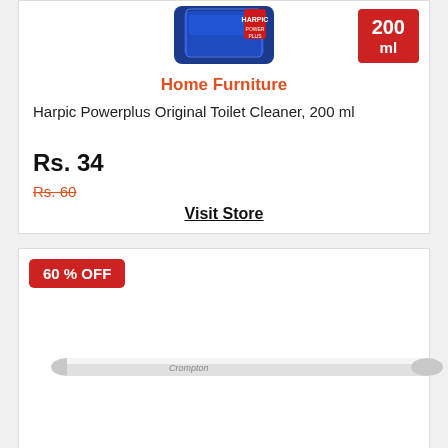[Figure (photo): Harpic Powerplus Original Toilet Cleaner bottle, blue packaging]
200 ml
Home Furniture
Harpic Powerplus Original Toilet Cleaner, 200 ml
Rs. 34
Rs. 60
Visit Store
60 % OFF
[Figure (photo): Crompton LED tube light, white/silver, elongated fluorescent-style LED bar]